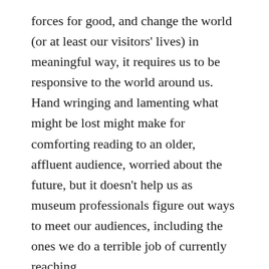forces for good, and change the world (or at least our visitors' lives) in meaningful way, it requires us to be responsive to the world around us. Hand wringing and lamenting what might be lost might make for comforting reading to an older, affluent audience, worried about the future, but it doesn't help us as museum professionals figure out ways to meet our audiences, including the ones we do a terrible job of currently reaching.
On the London School of Economics blog, Andy Martin wrote Lessons from civil society: how a 'Theory of Change' can help tell a bigger impact story which offers up insights into theories of change and how they might apply to the cultural